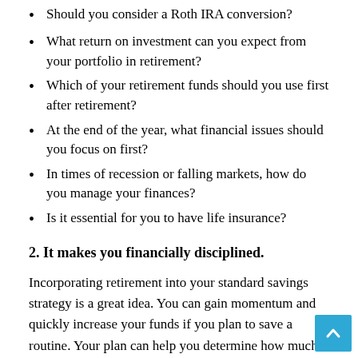Should you consider a Roth IRA conversion?
What return on investment can you expect from your portfolio in retirement?
Which of your retirement funds should you use first after retirement?
At the end of the year, what financial issues should you focus on first?
In times of recession or falling markets, how do you manage your finances?
Is it essential for you to have life insurance?
2. It makes you financially disciplined.
Incorporating retirement into your standard savings strategy is a great idea. You can gain momentum and quickly increase your funds if you plan to save a routine. Your plan can help you determine how much risk you can accept with your investments and how much money you can comfortably get out of your portfolio.